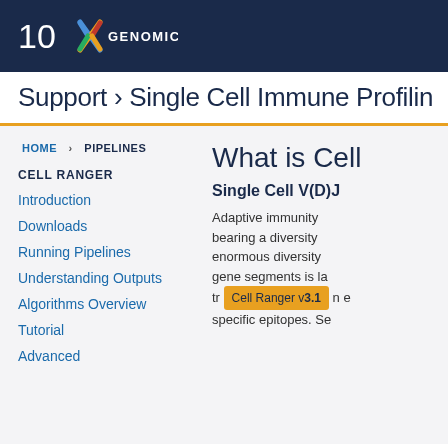10x Genomics
Support › Single Cell Immune Profiling
HOME › PIPELINES
CELL RANGER
Introduction
Downloads
Running Pipelines
Understanding Outputs
Algorithms Overview
Tutorial
Advanced
What is Cell
Single Cell V(D)J
Adaptive immunity bearing a diversity enormous diversity gene segments is la Cell Ranger v3.1 tr n e specific epitopes. Se
Cell Ranger v3.1